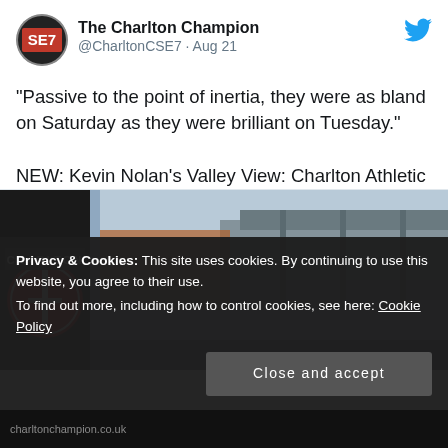[Figure (screenshot): Twitter/X profile avatar for The Charlton Champion, showing 'SE7' text on a red and dark background circle]
The Charlton Champion @CharltonCSE7 · Aug 21
"Passive to the point of inertia, they were as bland on Saturday as they were brilliant on Tuesday."

NEW: Kevin Nolan's Valley View: Charlton Athletic 1-1 Cambridge United #cafc #camUTD charltonchampion.co.uk/2022/08/21/kev…
[Figure (photo): Photo of Charlton Athletic stadium signage with the Charlton badge visible on a black pole, stadium structure in background]
Privacy & Cookies: This site uses cookies. By continuing to use this website, you agree to their use.
To find out more, including how to control cookies, see here: Cookie Policy
Close and accept